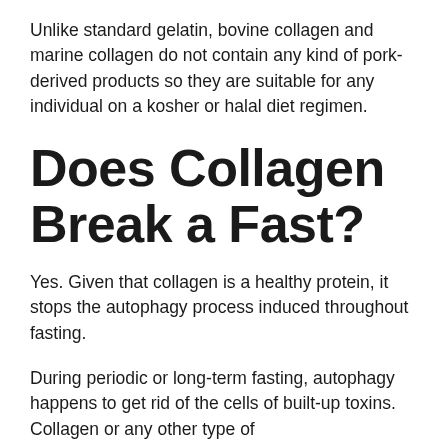Unlike standard gelatin, bovine collagen and marine collagen do not contain any kind of pork-derived products so they are suitable for any individual on a kosher or halal diet regimen.
Does Collagen Break a Fast?
Yes. Given that collagen is a healthy protein, it stops the autophagy process induced throughout fasting.
During periodic or long-term fasting, autophagy happens to get rid of the cells of built-up toxins. Collagen or any other type of